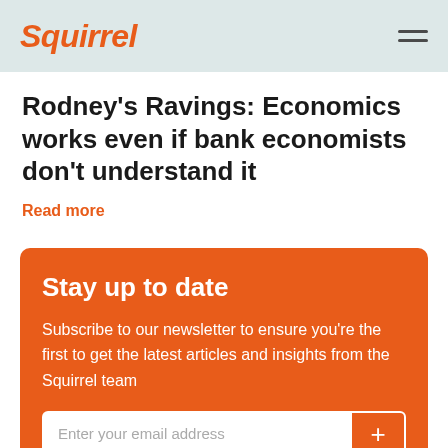Squirrel
Rodney's Ravings: Economics works even if bank economists don't understand it
Read more
Stay up to date
Subscribe to our newsletter to ensure you're the first to get the latest articles and insights from the Squirrel team
Enter your email address